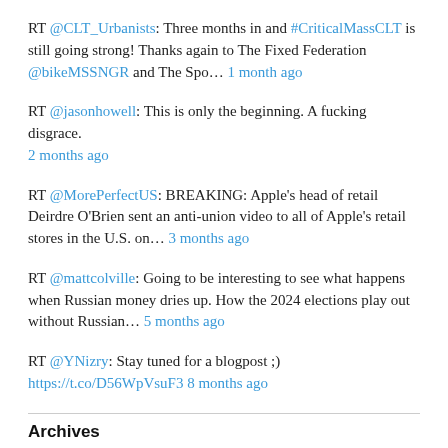RT @CLT_Urbanists: Three months in and #CriticalMassCLT is still going strong! Thanks again to The Fixed Federation @bikeMSSNGR and The Spo… 1 month ago
RT @jasonhowell: This is only the beginning. A fucking disgrace. 2 months ago
RT @MorePerfectUS: BREAKING: Apple's head of retail Deirdre O'Brien sent an anti-union video to all of Apple's retail stores in the U.S. on… 3 months ago
RT @mattcolville: Going to be interesting to see what happens when Russian money dries up. How the 2024 elections play out without Russian… 5 months ago
RT @YNizry: Stay tuned for a blogpost ;) https://t.co/D56WpVsuF3 8 months ago
Archives